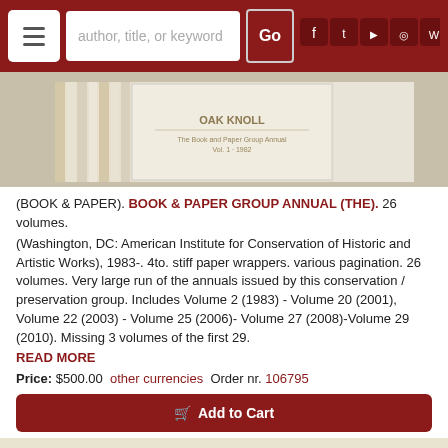[Figure (screenshot): Website navigation bar with hamburger menu, search box, Go button, and social media icons on dark red background]
[Figure (photo): Stack of Oak Knoll book volumes with cream/off-white covers]
(BOOK & PAPER). BOOK & PAPER GROUP ANNUAL (THE). 26 volumes.
(Washington, DC: American Institute for Conservation of Historic and Artistic Works), 1983-. 4to. stiff paper wrappers. various pagination. 26 volumes. Very large run of the annuals issued by this conservation / preservation group. Includes Volume 2 (1983) - Volume 20 (2001), Volume 22 (2003) - Volume 25 (2006)- Volume 27 (2008)-Volume 29 (2010). Missing 3 volumes of the first 29.
READ MORE
Price: $500.00  other currencies  Order nr. 106795
Add to Cart
(Book Arts). CHICAGO CENTER FOR BOOK & PAPER ARTS. 3 Volumes.